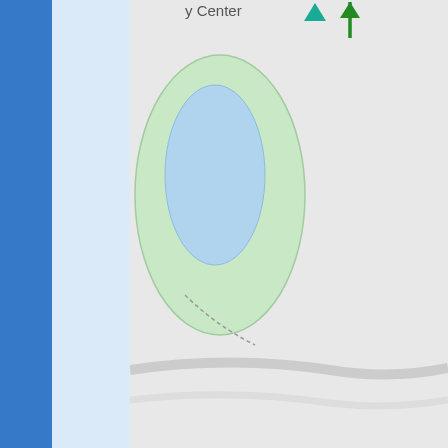[Figure (map): Partial map screenshot showing a park area with pond, green trees, road labels including 'y Center', 'Trombone', and navigation arrows]
All work is weather-depen...
For information on inter... the project website.
Please note crews are onl... owners (read more).
As a reminder, the Rout... Reston Avenue and Jarr... through an active work zo...
Please use caution and be... moving vehicles and equip...